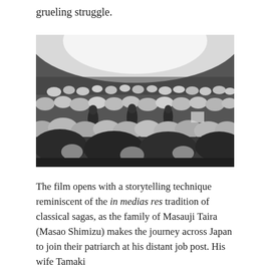grueling struggle.
[Figure (photo): Black and white photograph of people working in a large field of round white produce (possibly daikon radishes or cabbages), with bright light in the background sky and figures crouching among the crops.]
The film opens with a storytelling technique reminiscent of the in medias res tradition of classical sagas, as the family of Masauji Taira (Masao Shimizu) makes the journey across Japan to join their patriarch at his distant job post. His wife Tamaki